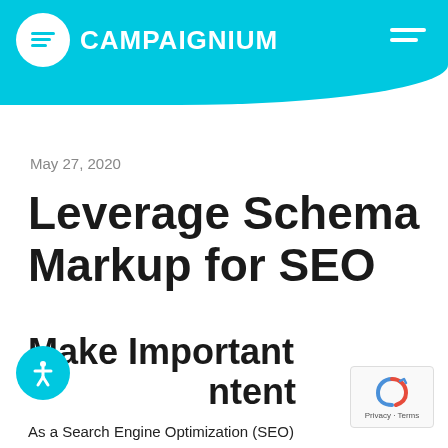CAMPAIGNIUM
May 27, 2020
Leverage Schema Markup for SEO
Make Important Content
As a Search Engine Optimization (SEO)